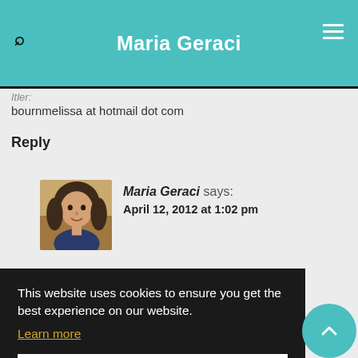Maria Geraci
bournmelissa at hotmail dot com
Reply
Maria Geraci says: April 12, 2012 at 1:02 pm
[Figure (photo): Profile photo of Maria Geraci, a woman with dark hair]
This website uses cookies to ensure you get the best experience on our website. Learn more
Got it!
enjoying meeting all of these new authors! Thanks for the great giveaway!